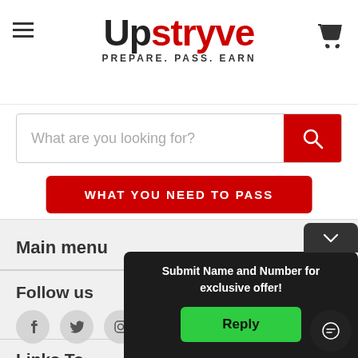[Figure (logo): Upstryve logo with tagline PREPARE. PASS. EARN]
What are you looking for?
WHAT YOU NEED TO PASS
Main menu
Follow us
Links To
Submit Name and Number for exclusive offer!
Reply